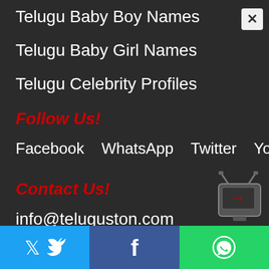Telugu Baby Boy Names
Telugu Baby Girl Names
Telugu Celebrity Profiles
Follow Us!
Facebook   WhatsApp   Twitter   Youtube
Contact Us!
info@teluguston.com
Twitter  Facebook  WhatsApp